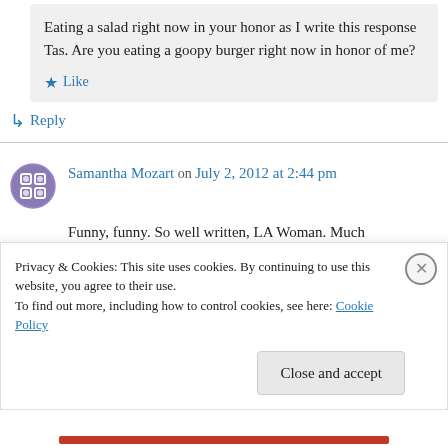Eating a salad right now in your honor as I write this response Tas. Are you eating a goopy burger right now in honor of me?
Like
Reply
Samantha Mozart on July 2, 2012 at 2:44 pm
Funny, funny. So well written, LA Woman. Much
Privacy & Cookies: This site uses cookies. By continuing to use this website, you agree to their use.
To find out more, including how to control cookies, see here: Cookie Policy
Close and accept